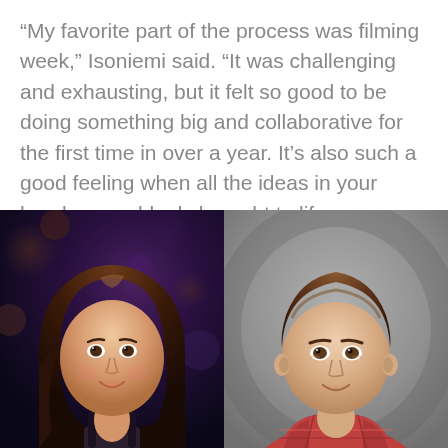“My favorite part of the process was filming week,” Isoniemi said. “It was challenging and exhausting, but it felt so good to be doing something big and collaborative for the first time in over a year. It’s also such a good feeling when all the ideas in your head are suddenly brought to life on camera.”
[Figure (photo): Two portrait photos side by side: on the left, a young woman with long brown hair smiling, against a dark blue/purple bokeh background; on the right, a young man with short brown hair smiling, against a gray studio background.]